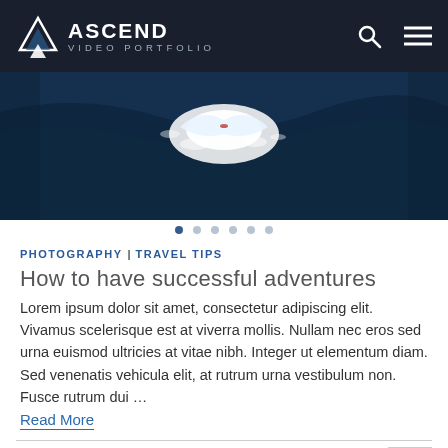ASCEND VIDEO PORTFOLIO
[Figure (photo): Aerial view of a surfer on deep blue ocean water with white foam/waves, viewed from above.]
PHOTOGRAPHY | TRAVEL TIPS
How to have successful adventures
Lorem ipsum dolor sit amet, consectetur adipiscing elit. Vivamus scelerisque est at viverra mollis. Nullam nec eros sed urna euismod ultricies at vitae nibh. Integer ut elementum diam. Sed venenatis vehicula elit, at rutrum urna vestibulum non. Fusce rutrum dui …
Read More
FEBRUARY 8, 2017